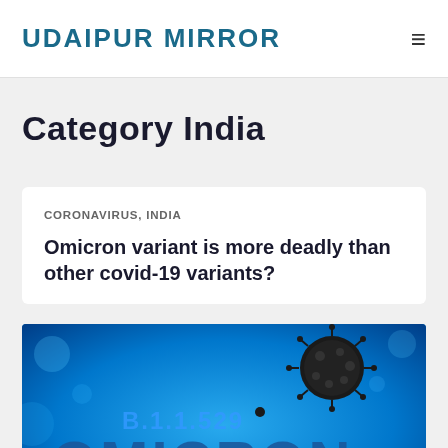UDAIPUR MIRROR
Category India
CORONAVIRUS, INDIA
Omicron variant is more deadly than other covid-19 variants?
[Figure (photo): Blue-themed image showing coronavirus (Omicron B.1.1.529) particles on a blue background with the text 'B.1.1.529' and 'OMICRON' prominently displayed]